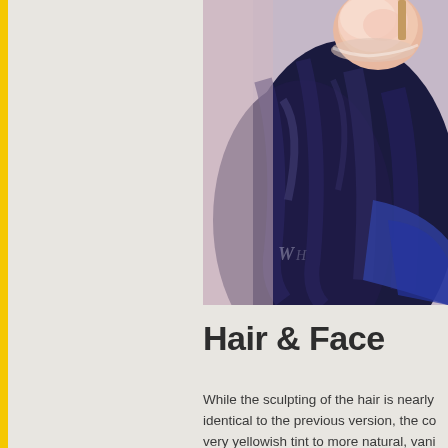[Figure (photo): Close-up photograph of an anime or figure doll's hair and head, showing dark/navy blue hair with a light pink/peach colored hair accessory or bun on top. The hair has a satin-like shiny appearance. A watermark with stylized letters is visible in the lower left area of the photo.]
Hair & Face
While the sculpting of the hair is nearly identical to the previous version, the co very yellowish tint to more natural, vani with darker shading at the tips. What b the previous have changed? I h